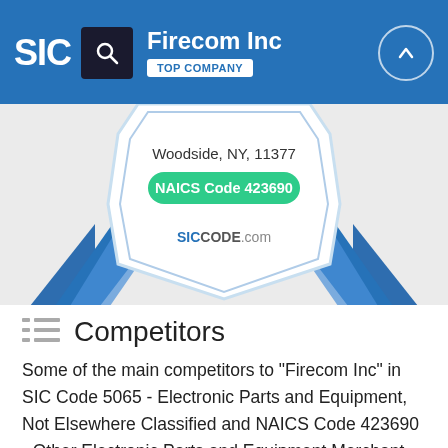SIC | Firecom Inc | TOP COMPANY
[Figure (infographic): Award badge/ribbon graphic with text 'Woodside, NY, 11377', 'NAICS Code 423690', and 'SICCODE.com' on a blue and white shield-shaped badge with ribbon banners]
Competitors
Some of the main competitors to "Firecom Inc" in SIC Code 5065 - Electronic Parts and Equipment, Not Elsewhere Classified and NAICS Code 423690 - Other Electronic Parts and Equipment Merchant Wholesalers are the following: